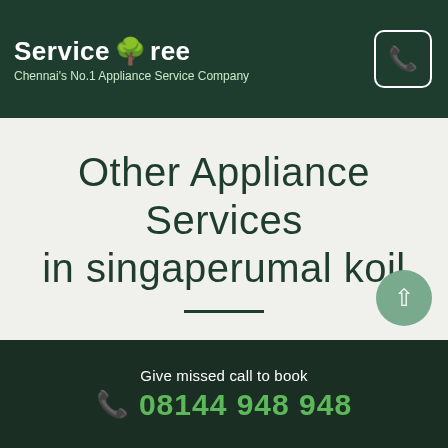ServiceTree — Chennai's No.1 Appliance Service Company
Other Appliance Services in singaperumal koil
Fridge Service in singaperumal koil
Washing Machine Service in singaperumal koil
Give missed call to book 08144 948 948